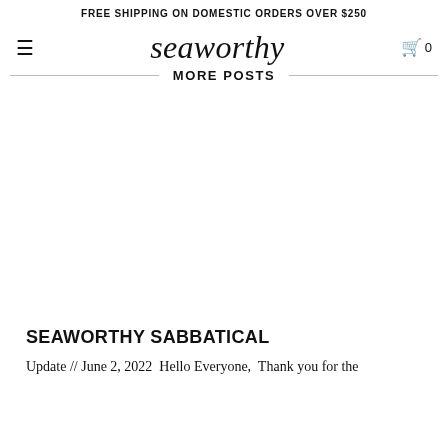FREE SHIPPING ON DOMESTIC ORDERS OVER $250
seaworthy
More Posts
[Figure (other): Blank white image placeholder for a blog post]
SEAWORTHY SABBATICAL
Update // June 2, 2022  Hello Everyone,  Thank you for the